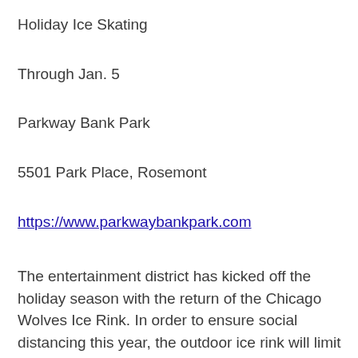Holiday Ice Skating
Through Jan. 5
Parkway Bank Park
5501 Park Place, Rosemont
https://www.parkwaybankpark.com
The entertainment district has kicked off the holiday season with the return of the Chicago Wolves Ice Rink. In order to ensure social distancing this year, the outdoor ice rink will limit capacities and advance ice skating reservations are required. Skaters temperatures will be checked and face masks are required while entering the skating tent. Skate...